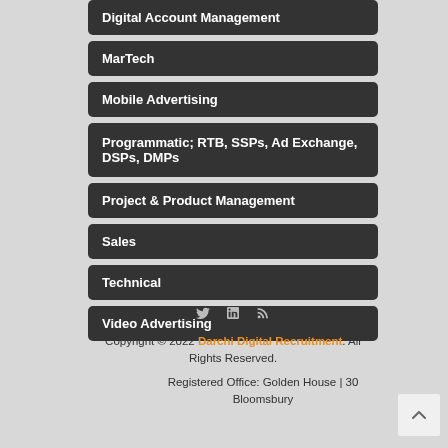Digital Account Management
MarTech
Mobile Advertising
Programmatic; RTB, SSPs, Ad Exchange, DSPs, DMPs
Project & Product Management
Sales
Technical
Video Advertising
Copyright © 2022 Darchi Digital Recruitment. All Rights Reserved.
Registered Office: Golden House | 30 Bloomsbury